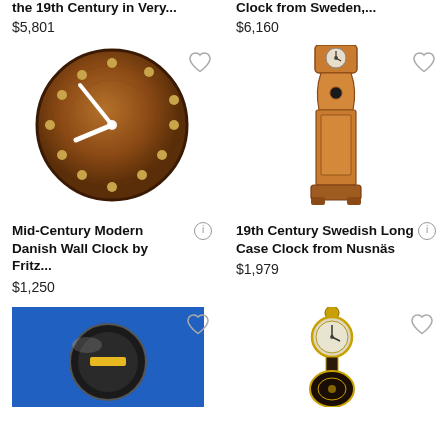the 19th Century in Very... $5,801
Clock from Sweden,... $6,160
[Figure (photo): Round wooden wall clock with dot hour markers and white clock hands, mid-century modern Danish design]
[Figure (photo): Swedish long case grandfather clock with ornate painted wooden case in orange/tan tones]
Mid-Century Modern Danish Wall Clock by Fritz... $1,250
19th Century Swedish Long Case Clock from Nusnäs $1,979
[Figure (photo): Partial view of a clock on blue background]
[Figure (photo): Ornate banjo-style clock with dark wood and gold decorations]